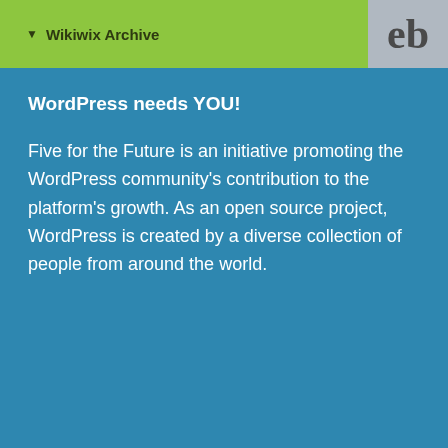Wikiwix Archive
WordPress needs YOU!
Five for the Future is an initiative promoting the WordPress community's contribution to the platform's growth. As an open source project, WordPress is created by a diverse collection of people from around the world.
What is Five for the Future?
Launched in 2014, Five for the Future encourages